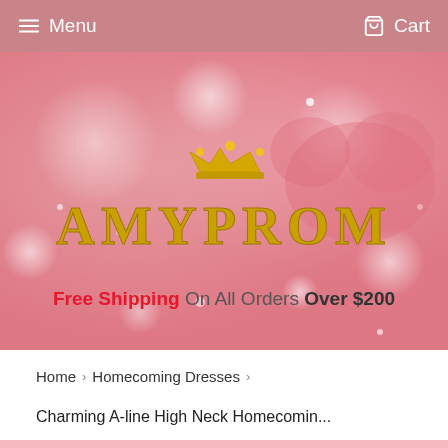Menu  Cart
[Figure (illustration): Pink bokeh/glitter hero banner background with AmyProm logo (golden crown above text AMYPROM in gold letters) and promotional text: Free Shipping On All Orders Over $200]
Home > Homecoming Dresses >
Charming A-line High Neck Homecomin...